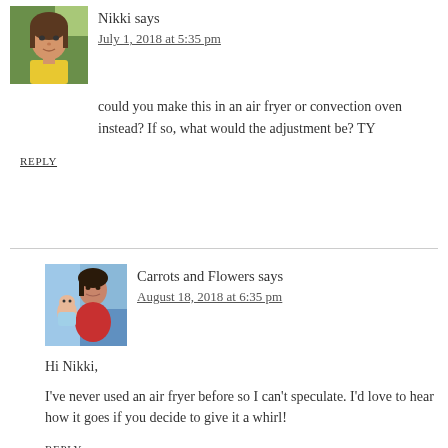[Figure (photo): Avatar photo of Nikki - woman in yellow top outdoors]
Nikki says
July 1, 2018 at 5:35 pm
could you make this in an air fryer or convection oven instead? If so, what would the adjustment be? TY
REPLY
[Figure (photo): Avatar photo of Carrots and Flowers - woman in red holding a baby with colorful background]
Carrots and Flowers says
August 18, 2018 at 6:35 pm
Hi Nikki,
I've never used an air fryer before so I can't speculate. I'd love to hear how it goes if you decide to give it a whirl!
REPLY